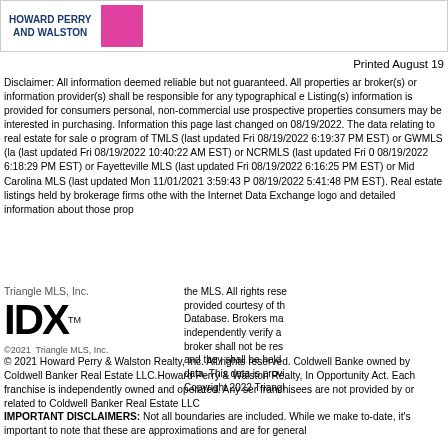[Figure (logo): Howard Perry and Walston logo with pink photo]
Printed August 19
Disclaimer: All information deemed reliable but not guaranteed. All properties ar... broker(s) or information provider(s) shall be responsible for any typographical e... Listing(s) information is provided for consumers personal, non-commercial use... prospective properties consumers may be interested in purchasing. Information... this page last changed on 08/19/2022. The data relating to real estate for sale o... program of TMLS (last updated Fri 08/19/2022 6:19:37 PM EST) or GWMLS (la... (last updated Fri 08/19/2022 10:40:22 AM EST) or NCRMLS (last updated Fri 0... 08/19/2022 6:18:29 PM EST) or Fayetteville MLS (last updated Fri 08/19/2022... 6:16:25 PM EST) or Mid Carolina MLS (last updated Mon 11/01/2021 3:59:43 P... 08/19/2022 5:41:48 PM EST). Real estate listings held by brokerage firms othe... with the Internet Data Exchange logo and detailed information about those prop...
[Figure (logo): Triangle MLS Inc IDX logo with copyright 2021 Triangle MLS Inc]
the MLS. All rights rese... provided courtesy of th... Database. Brokers ma... independently verify a... broker shall not be res... and they shall be held... data. This data is provi... Copyright 2022 Triangl...
© 2021 Howard Perry & Walston Realty, Inc. All rights reserved. Coldwell Banke... owned by Coldwell Banker Real Estate LLC.Howard Perry & Walston Realty, In... Opportunity Act. Each franchise is independently owned and operated. Any ser... franchisees are not provided by or related to Coldwell Banker Real Estate LLC...
IMPORTANT DISCLAIMERS: Not all boundaries are included. While we make... to-date, it's important to note that these are approximations and are for general...